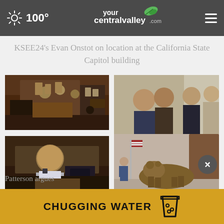100° yourcentralvalley.com
KSEE24's Evan Onstot on location at the California State Capitol building
[Figure (photo): Film crew and people in an office with wood furniture and framed photos on walls]
[Figure (photo): People in suits conversing at an indoor event with curtains in background]
[Figure (photo): Man in shirt and tie talking on phone at a desk]
[Figure (photo): Bronze bear sculpture in Capitol building lobby with uniformed guard and American flag]
Patterson argues
CHUGGING WATER